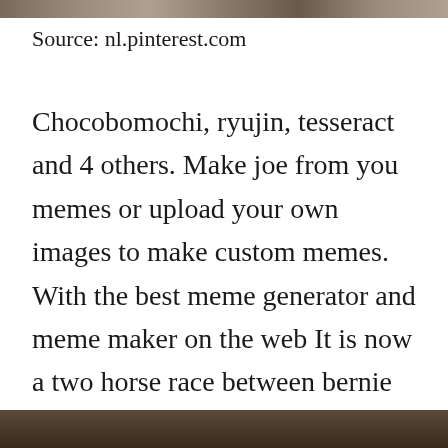[Figure (photo): Partial photo strip at the top of the page, showing blurred colorful image]
Source: nl.pinterest.com
Chocobomochi, ryujin, tesseract and 4 others. Make joe from you memes or upload your own images to make custom memes. With the best meme generator and meme maker on the web It is now a two horse race between bernie sanders and joe. 0 my neighbor▦s mother makes $64 hourly on the laptop.
[Figure (photo): Partial photo strip at the bottom of the page, dark toned image]